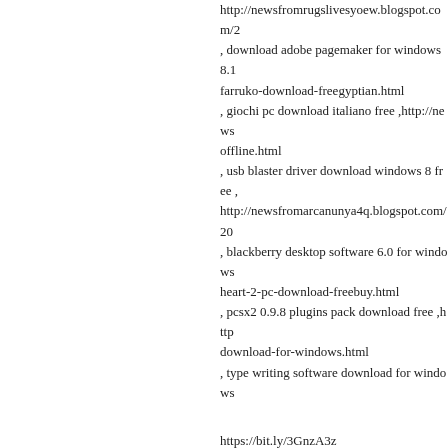http://newsfromrugslivesyoew.blogspot.com/2 , download adobe pagemaker for windows 8.1 farruko-download-freegyptian.html , giochi pc download italiano free ,http://news offline.html , usb blaster driver download windows 8 free , http://newsfromarcanunya4q.blogspot.com/20 , blackberry desktop software 6.0 for windows heart-2-pc-download-freebuy.html , pcsx2 0.9.8 plugins pack download free ,http download-for-windows.html , type writing software download for windows
https://bit.ly/3GnzA3z , sql server 2008 r2 download for windows 8 6 , the sims 2 castaway download pc free ,https: , download update game pc free , https://bit.ly/3grKRFo , google chrome full version download for wir , weather channel gadget download windows 7 , ptcl smart tv pc software download free , https://bit.ly/3IXdIO6 , the world browser download for windows 7 f , download usb to serial driver for windows 7 , download save game editor need for speed u